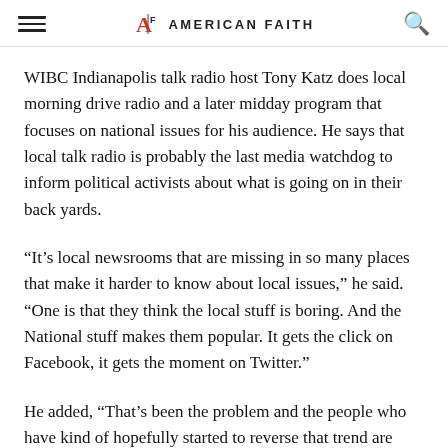AMERICAN FAITH
WIBC Indianapolis talk radio host Tony Katz does local morning drive radio and a later midday program that focuses on national issues for his audience. He says that local talk radio is probably the last media watchdog to inform political activists about what is going on in their back yards.
“It’s local newsrooms that are missing in so many places that make it harder to know about local issues,” he said. “One is that they think the local stuff is boring. And the National stuff makes them popular. It gets the click on Facebook, it gets the moment on Twitter.”
He added, “That’s been the problem and the people who have kind of hopefully started to reverse that trend are